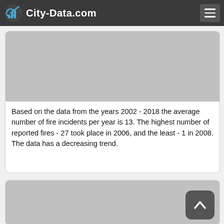City-Data.com
[Figure (other): Gray placeholder image for a chart about fire incidents]
Based on the data from the years 2002 - 2018 the average number of fire incidents per year is 13. The highest number of reported fires - 27 took place in 2006, and the least - 1 in 2008. The data has a decreasing trend.
[Figure (other): Gray placeholder image for a second chart]